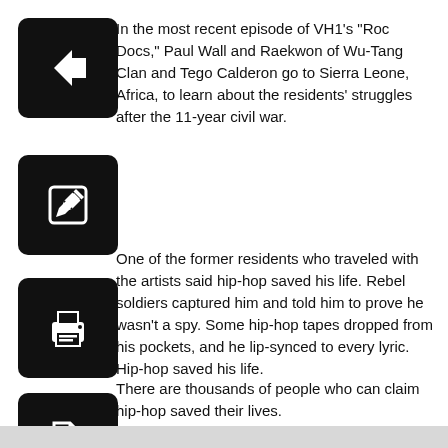[Figure (other): Black rounded square icon with a left-pointing arrow (back navigation button)]
In the most recent episode of VH1's “Roc Docs,” Paul Wall and Raekwon of Wu-Tang Clan and Tego Calderon go to Sierra Leone, Africa, to learn about the residents’ struggles after the 11-year civil war.
[Figure (other): Black rounded square icon with a pencil/edit symbol]
One of the former residents who traveled with the artists said hip-hop saved his life. Rebel soldiers captured him and told him to prove he wasn’t a spy. Some hip-hop tapes dropped from his pockets, and he lip-synced to every lyric. Hip-hop saved his life.
[Figure (other): Black rounded square icon with a printer symbol]
There are thousands of people who can claim hip-hop saved their lives.
[Figure (other): Black rounded square icon with a PDF document symbol]
Instead of dismissing a genre with the versatility to provoke thought, emotion and anger all at the same time, learn to ignore or respect it for what it is.
Noelle Pennyman is a junior public relations major and a columnist for the Daily Kent Stater. Contact her at vpennyma@kent.edu.